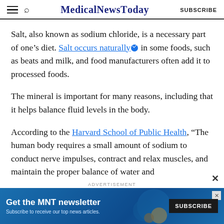MedicalNewsToday SUBSCRIBE
Salt, also known as sodium chloride, is a necessary part of one’s diet. Salt occurs naturally in some foods, such as beats and milk, and food manufacturers often add it to processed foods.
The mineral is important for many reasons, including that it helps balance fluid levels in the body.
According to the Harvard School of Public Health, “The human body requires a small amount of sodium to conduct nerve impulses, contract and relax muscles, and maintain the proper balance of water and
[Figure (other): Advertisement banner: Get the MNT newsletter. Subscribe to receive our top news articles. Blue gradient background with a Subscribe button.]